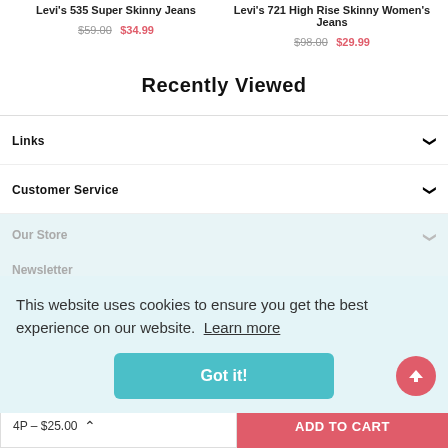Levi's 535 Super Skinny Jeans — $59.00 / $34.99
Levi's 721 High Rise Skinny Women's Jeans — $98.00 / $29.99
Recently Viewed
Links
Customer Service
Our Store
Newsletter
This website uses cookies to ensure you get the best experience on our website. Learn more
Got it!
4P – $25.00
ADD TO CART